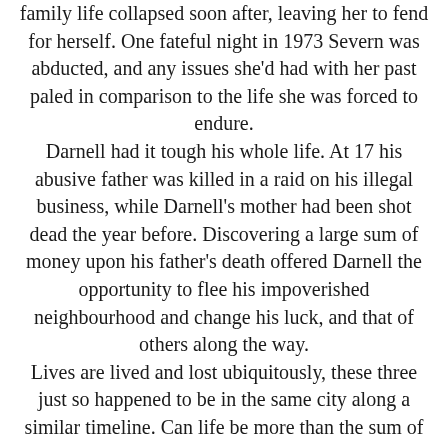family life collapsed soon after, leaving her to fend for herself. One fateful night in 1973 Severn was abducted, and any issues she'd had with her past paled in comparison to the life she was forced to endure. Darnell had it tough his whole life. At 17 his abusive father was killed in a raid on his illegal business, while Darnell's mother had been shot dead the year before. Discovering a large sum of money upon his father's death offered Darnell the opportunity to flee his impoverished neighbourhood and change his luck, and that of others along the way.
Lives are lived and lost ubiquitously, these three just so happened to be in the same city along a similar timeline. Can life be more than the sum of one's own experiences?
Goodreads * Amazon
About the Author